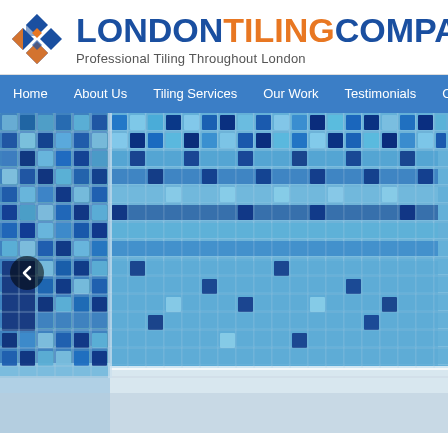[Figure (logo): London Tiling Company logo with diamond tile icon in blue and orange, company name in blue and orange bold text, subtitle 'Professional Tiling Throughout London']
Home | About Us | Tiling Services | Our Work | Testimonials | Contact Us
[Figure (photo): Photo of a bathroom wall covered in small blue mosaic tiles in various shades of blue and teal, with a white bathtub ledge visible at the bottom. A previous/back navigation arrow button is overlaid on the left side.]